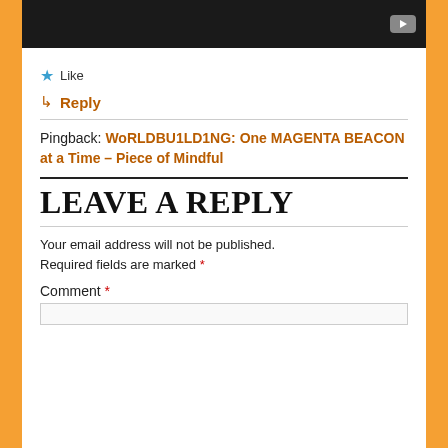[Figure (screenshot): Black video player bar with a gray play button icon in the top right corner]
★ Like
↳ Reply
Pingback: WoRLDBU1LD1NG: One MAGENTA BEACON at a Time – Piece of Mindful
LEAVE A REPLY
Your email address will not be published. Required fields are marked *
Comment *